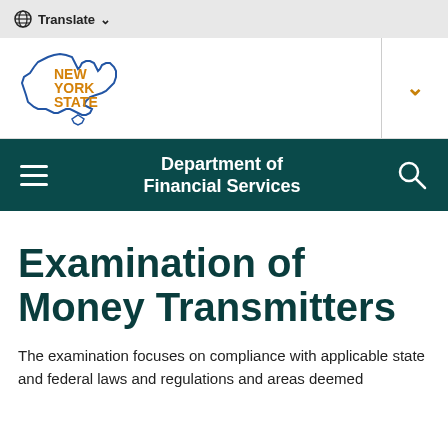Translate
[Figure (logo): New York State logo with outline of New York State in blue and 'NEW YORK STATE' text in orange/gold]
Department of Financial Services
Examination of Money Transmitters
The examination focuses on compliance with applicable state and federal laws and regulations and areas deemed